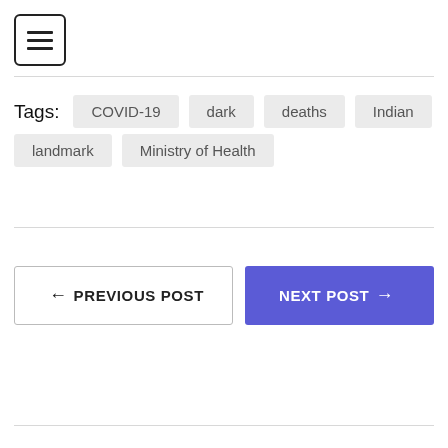[Figure (other): Hamburger menu button (three horizontal lines in a rounded square border)]
Tags: COVID-19  dark  deaths  Indian
landmark  Ministry of Health
← PREVIOUS POST
NEXT POST →